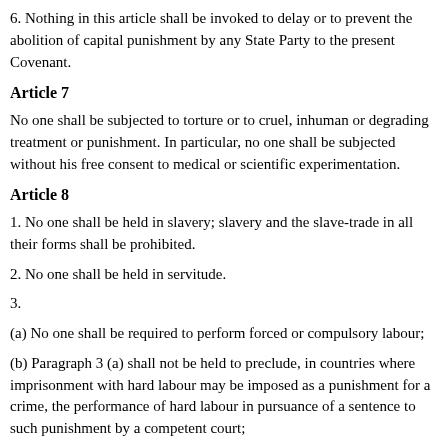6. Nothing in this article shall be invoked to delay or to prevent the abolition of capital punishment by any State Party to the present Covenant.
Article 7
No one shall be subjected to torture or to cruel, inhuman or degrading treatment or punishment. In particular, no one shall be subjected without his free consent to medical or scientific experimentation.
Article 8
1. No one shall be held in slavery; slavery and the slave-trade in all their forms shall be prohibited.
2. No one shall be held in servitude.
3.
(a) No one shall be required to perform forced or compulsory labour;
(b) Paragraph 3 (a) shall not be held to preclude, in countries where imprisonment with hard labour may be imposed as a punishment for a crime, the performance of hard labour in pursuance of a sentence to such punishment by a competent court;